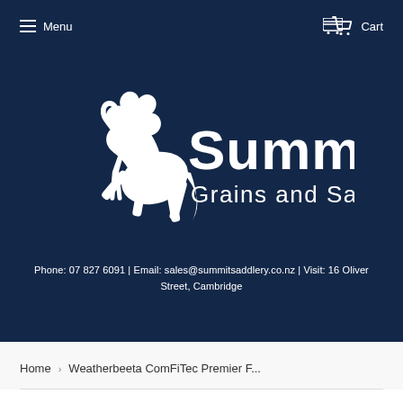Menu  Cart
[Figure (logo): Summit Grains and Saddlery logo — white rearing horse silhouette beside the text 'Summit Grains and Saddlery' on a dark navy background]
Phone: 07 827 6091 | Email: sales@summitsaddlery.co.nz | Visit: 16 Oliver Street, Cambridge
Home › Weatherbeeta ComFiTec Premier F...